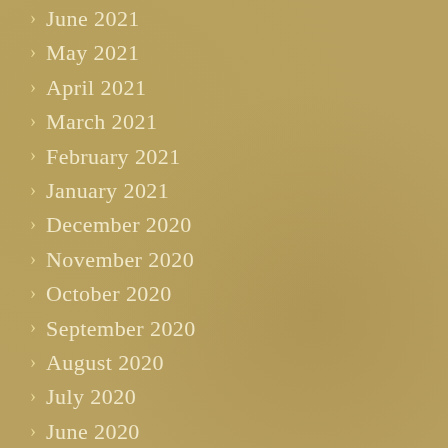June 2021
May 2021
April 2021
March 2021
February 2021
January 2021
December 2020
November 2020
October 2020
September 2020
August 2020
July 2020
June 2020
May 2020
April 2020